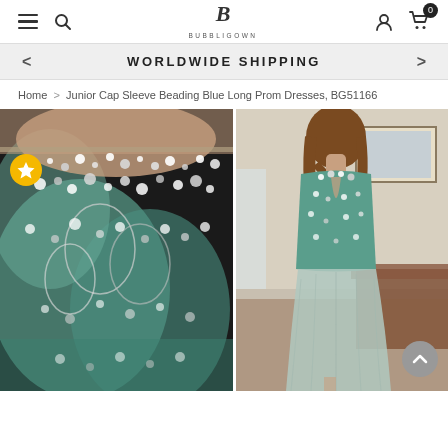BUBBLIGOWN — navigation header with hamburger menu, search, logo, user icon, cart (0)
WORLDWIDE SHIPPING
Home > Junior Cap Sleeve Beading Blue Long Prom Dresses, BG51166
[Figure (photo): Two product photos of a junior cap sleeve beading blue long prom dress (BG51166). Left image shows a close-up of the heavily beaded and crystal-embellished teal/mint bodice. Right image shows the back view of a woman wearing the full-length gown with beaded back and flowing mint chiffon skirt.]